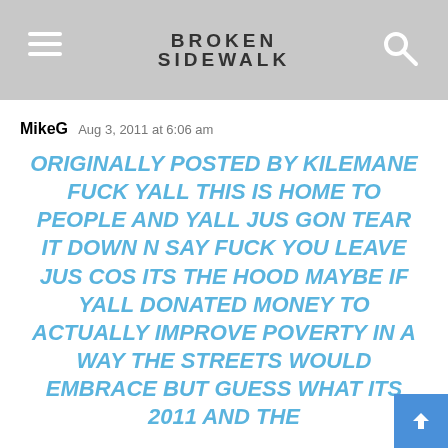BROKEN SIDEWALK
MikeG Aug 3, 2011 at 6:06 am
ORIGINALLY POSTED BY KILEMANE FUCK YALL THIS IS HOME TO PEOPLE AND YALL JUS GON TEAR IT DOWN N SAY FUCK YOU LEAVE JUS COS ITS THE HOOD MAYBE IF YALL DONATED MONEY TO ACTUALLY IMPROVE POVERTY IN A WAY THE STREETS WOULD EMBRACE BUT GUESS WHAT ITS 2011 AND THE